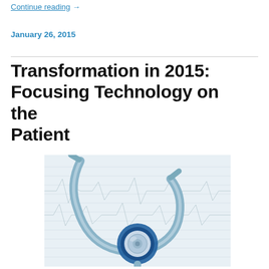Continue reading →
January 26, 2015
Transformation in 2015: Focusing Technology on the Patient
[Figure (photo): A blue stethoscope resting on medical chart paper, close-up photograph with blue and silver tones]